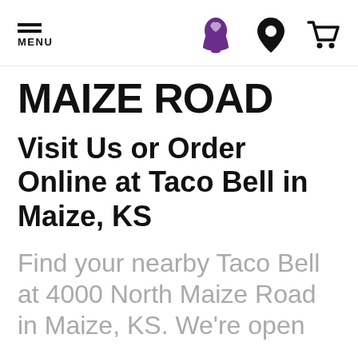MENU | Taco Bell Logo | Location icon | Cart icon
MAIZE ROAD
Visit Us or Order Online at Taco Bell in Maize, KS
Find your nearby Taco Bell at 4000 North Maize Road in Maize, KS. We're open